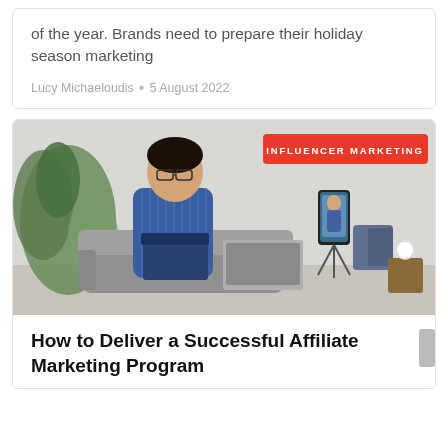of the year. Brands need to prepare their holiday season marketing
Lucy Michaeloudis · 5 August 2022
[Figure (photo): A young man in a blue striped shirt opening a dark gift box, sitting in front of a laptop, with a smartphone on a tripod recording. Plants visible in background. Red badge overlay reads INFLUENCER MARKETING.]
How to Deliver a Successful Affiliate Marketing Program